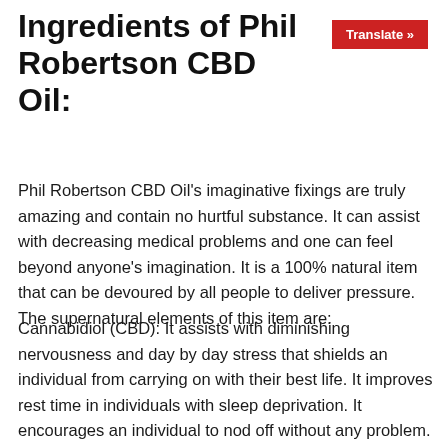Ingredients of Phil Robertson CBD Oil:
Phil Robertson CBD Oil's imaginative fixings are truly amazing and contain no hurtful substance. It can assist with decreasing medical problems and one can feel beyond anyone's imagination. It is a 100% natural item that can be devoured by all people to deliver pressure. The supernatural elements of this item are:
Cannabidiol (CBD): It assists with diminishing nervousness and day by day stress that shields an individual from carrying on with their best life. It improves rest time in individuals with sleep deprivation. It encourages an individual to nod off without any problem.